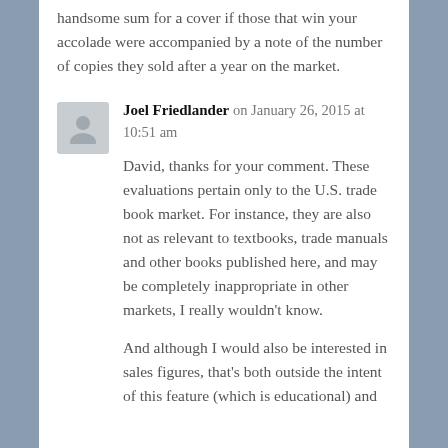handsome sum for a cover if those that win your accolade were accompanied by a note of the number of copies they sold after a year on the market.
Joel Friedlander on January 26, 2015 at 10:51 am
David, thanks for your comment. These evaluations pertain only to the U.S. trade book market. For instance, they are also not as relevant to textbooks, trade manuals and other books published here, and may be completely inappropriate in other markets, I really wouldn't know.
And although I would also be interested in sales figures, that's both outside the intent of this feature (which is educational) and